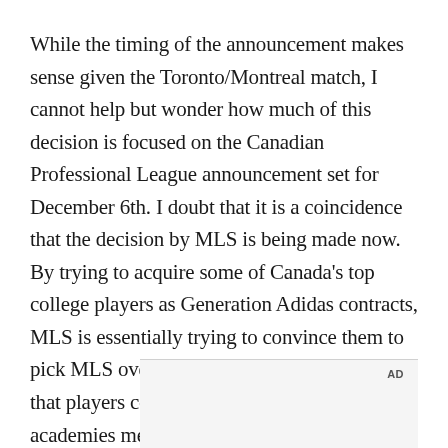While the timing of the announcement makes sense given the Toronto/Montreal match, I cannot help but wonder how much of this decision is focused on the Canadian Professional League announcement set for December 6th. I doubt that it is a coincidence that the decision by MLS is being made now. By trying to acquire some of Canada's top college players as Generation Adidas contracts, MLS is essentially trying to convince them to pick MLS over CanPL. In addition, requiring that players come from specific MLS-affiliated academies means that young players will choose those over non-affiliates to increase their opportunities. Maybe I am being too cynical, although I doubt it.
[Figure (other): Advertisement placeholder box with 'AD' label in top right corner]